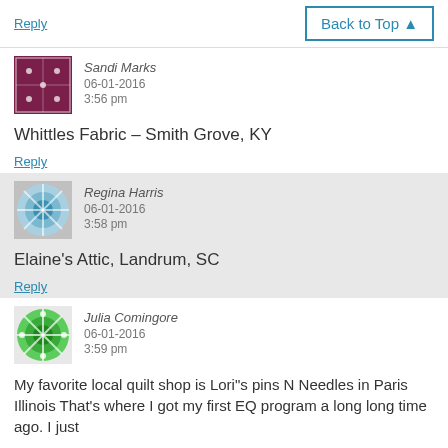Reply
Back to Top ▲
Sandi Marks
06-01-2016
3:56 pm
Whittles Fabric – Smith Grove, KY
Reply
Regina Harris
06-01-2016
3:58 pm
Elaine's Attic, Landrum, SC
Reply
Julia Comingore
06-01-2016
3:59 pm
My favorite local quilt shop is Lori"s pins N Needles in Paris Illinois That's where I got my first EQ program a long long time ago. I just